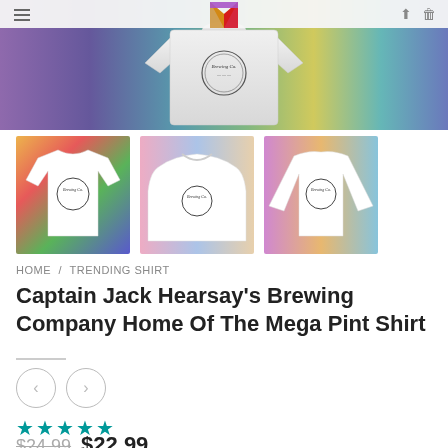[Figure (screenshot): E-commerce product page showing a t-shirt with Captain Jack Hearsay's Brewing Company logo on a rainbow/gradient background hero image, with three product variant thumbnails (t-shirt, hoodie, long-sleeve), breadcrumb navigation, product title, price, and star rating.]
HOME / TRENDING SHIRT
Captain Jack Hearsay's Brewing Company Home Of The Mega Pint Shirt
★★★★★
$24.99  $22.99